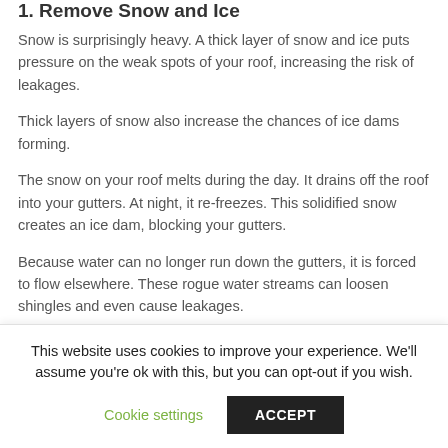1. Remove Snow and Ice
Snow is surprisingly heavy. A thick layer of snow and ice puts pressure on the weak spots of your roof, increasing the risk of leakages.
Thick layers of snow also increase the chances of ice dams forming.
The snow on your roof melts during the day. It drains off the roof into your gutters. At night, it re-freezes. This solidified snow creates an ice dam, blocking your gutters.
Because water can no longer run down the gutters, it is forced to flow elsewhere. These rogue water streams can loosen shingles and even cause leakages.
This website uses cookies to improve your experience. We'll assume you're ok with this, but you can opt-out if you wish.
Cookie settings | ACCEPT